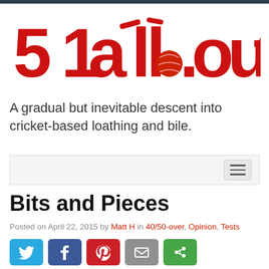[Figure (logo): 51allout cricket blog logo in red with cricket ball replacing the dot in 'all.out', with bails flying above]
A gradual but inevitable descent into cricket-based loathing and bile.
Bits and Pieces
Posted on April 22, 2015 by Matt H in 40/50-over, Opinion, Tests
[Figure (infographic): Social share buttons: Twitter (blue), Facebook (dark blue), Pinterest (red), Email (grey), More/share (green)]